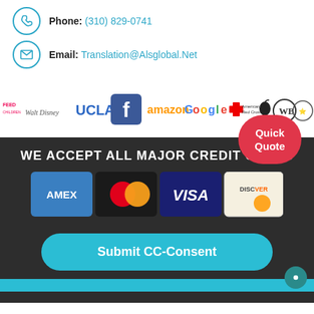Phone: (310) 829-0741
Email: Translation@Alsglobal.Net
[Figure (logo): Row of client/partner logos: Feed the Children, Walt Disney, UCLA, Facebook, Amazon, Google, American Red Cross, Apple, Warner Bros, US Department of Defense seal, and one partially visible logo]
Quick Quote
WE ACCEPT ALL MAJOR CREDIT CARDS
[Figure (other): Credit card logos: AMEX (blue), MasterCard (red/yellow circles), VISA (blue), DISCOVER (orange/white)]
Submit CC-Consent